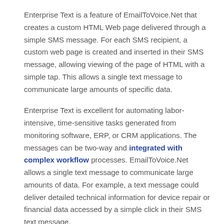Enterprise Text is a feature of EmailToVoice.Net that creates a custom HTML Web page delivered through a simple SMS message. For each SMS recipient, a custom web page is created and inserted in their SMS message, allowing viewing of the page of HTML with a simple tap. This allows a single text message to communicate large amounts of specific data.
Enterprise Text is excellent for automating labor-intensive, time-sensitive tasks generated from monitoring software, ERP, or CRM applications. The messages can be two-way and integrated with complex workflow processes. EmailToVoice.Net allows a single text message to communicate large amounts of data. For example, a text message could deliver detailed technical information for device repair or financial data accessed by a simple click in their SMS text message.
Features of Enterprise Text for...